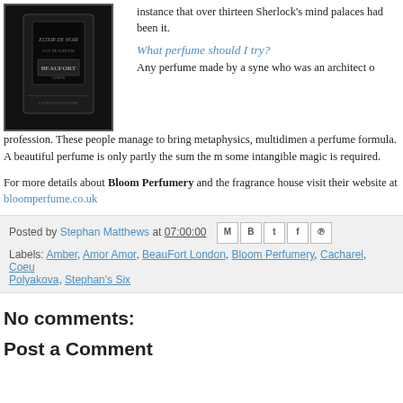[Figure (photo): Dark fragrance bottle labeled 'Elixir De Noir' by BeauFort on a dark background]
instance that over thirteen Sherlock's mind palaces had been it.
What perfume should I try?
Any perfume made by a syner who was an architect o profession. These people manage to bring metaphysics, multidimen a perfume formula. A beautiful perfume is only partly the sum the m some intangible magic is required.
For more details about Bloom Perfumery and the fragrance house visit their website at bloomperfume.co.uk
Posted by Stephan Matthews at 07:00:00
Labels: Amber, Amor Amor, BeauFort London, Bloom Perfumery, Cacharel, Coeu Polyakova, Stephan's Six
No comments:
Post a Comment